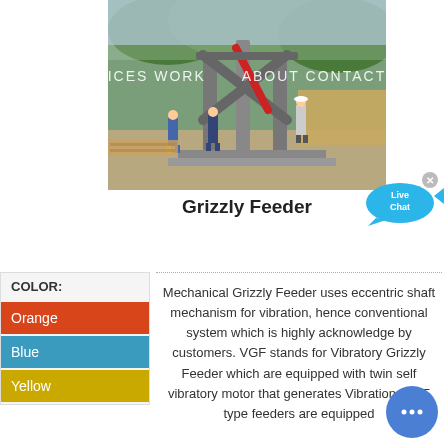SERVICES   WORK   ABOUT   CONTACT
[Figure (photo): Construction/installation site photo showing workers assembling a large industrial Grizzly Feeder frame structure outdoors, with forest and timber in the background.]
Grizzly Feeder
[Figure (illustration): Live Chat speech bubble icon in blue with 'Live Chat' text and an X close button]
COLOR:
Orange
Blue
Yellow
Mechanical Grizzly Feeder uses eccentric shaft mechanism for vibration, hence conventional system which is highly acknowledge by customers. VGF stands for Vibratory Grizzly Feeder which are equipped with twin self vibratory motor that generates Vibration. VGF type feeders are equipped
[Figure (illustration): Blue circular chat button with three dots in the bottom right corner]